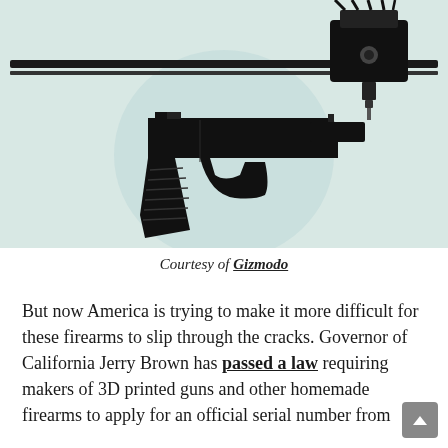[Figure (illustration): A 3D printer printing a black handgun silhouette. The background is light blue-gray with a pale circular highlight behind the gun. The printer's carriage and cables are visible at the top.]
Courtesy of Gizmodo
But now America is trying to make it more difficult for these firearms to slip through the cracks. Governor of California Jerry Brown has passed a law requiring makers of 3D printed guns and other homemade firearms to apply for an official serial number from the Department of Justice, a process which requires a